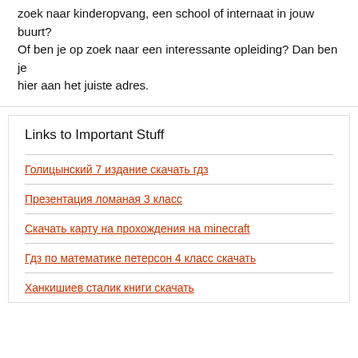zoek naar kinderopvang, een school of internaat in jouw buurt? Of ben je op zoek naar een interessante opleiding? Dan ben je hier aan het juiste adres.
Links to Important Stuff
Голицынский 7 издание скачать гдз
Презентация ломаная 3 класс
Скачать карту на прохождения на minecraft
Гдз по математике петерсон 4 класс скачать
Ханкишиев сталик книги скачать